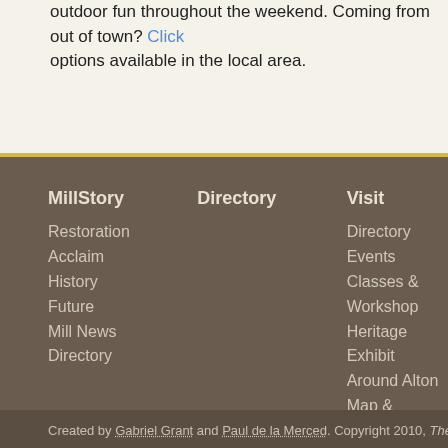outdoor fun throughout the weekend. Coming from out of town? Click here for accommodation options available in the local area.
MillStory
Restoration
Acclaim
History
Future
Mill News
Directory
Directory
Visit
Directory
Events
Classes & Workshops
Heritage Exhibit
Around Alton
Map & Directions
Calendar
Created by Gabriel Grant and Paul de la Merced. Copyright 2010, The Alton Mill.